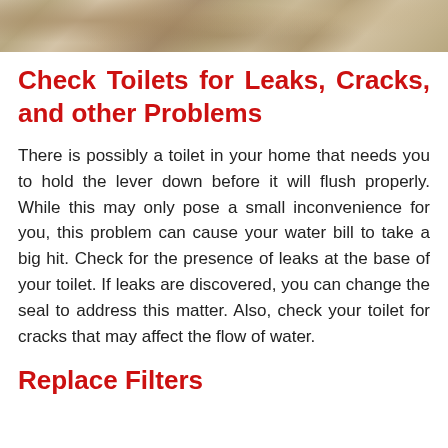[Figure (photo): Top portion of a photograph showing stone or rock texture in tan/beige tones, partially cropped at the top of the page.]
Check Toilets for Leaks, Cracks, and other Problems
There is possibly a toilet in your home that needs you to hold the lever down before it will flush properly. While this may only pose a small inconvenience for you, this problem can cause your water bill to take a big hit. Check for the presence of leaks at the base of your toilet. If leaks are discovered, you can change the seal to address this matter. Also, check your toilet for cracks that may affect the flow of water.
Replace Filters